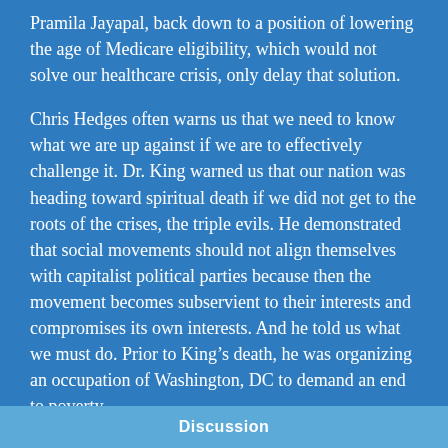Pramila Jayapal, back down to a position of lowering the age of Medicare eligibility, which would not solve our healthcare crisis, only delay that solution.
Chris Hedges often warns us that we need to know what we are up against if we are to effectively challenge it. Dr. King warned us that our nation was heading toward spiritual death if we did not get to the roots of the crises, the triple evils. He demonstrated that social movements should not align themselves with capitalist political parties because then the movement becomes subservient to their interests and compromises its own interests. And he told us what we must do. Prior to King's death, he was organizing an occupation of Washington, DC to demand an end to poverty.
During the Biden administration, many of the
Discussion